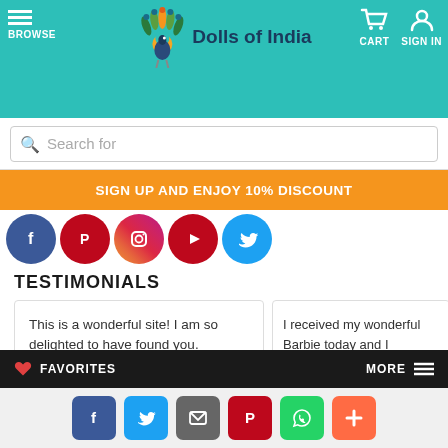Dolls of India — BROWSE | CART | SIGN IN
Search for
SIGN UP AND ENJOY 10% DISCOUNT
[Figure (other): Social media circular icon buttons: Facebook, Pinterest, Instagram, YouTube, Twitter]
TESTIMONIALS
This is a wonderful site! I am so delighted to have found you.
- Emily B West
I received my wonderful Barbie today and I absolutely love her. will be a treasured addition to my collection. Thank you so much for ensuring that she was packaged carefully. I will be taking the doll with me to my Barbie club meeting...
FAVORITES | MORE
[Figure (other): Social share buttons: Facebook, Twitter, Email, Pinterest, WhatsApp, Plus]